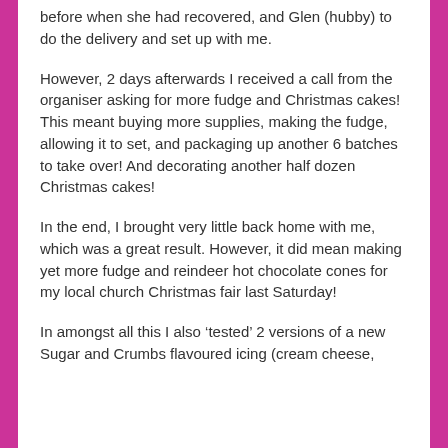before when she had recovered, and Glen (hubby) to do the delivery and set up with me.
However, 2 days afterwards I received a call from the organiser asking for more fudge and Christmas cakes! This meant buying more supplies, making the fudge, allowing it to set, and packaging up another 6 batches to take over! And decorating another half dozen Christmas cakes!
In the end, I brought very little back home with me, which was a great result. However, it did mean making yet more fudge and reindeer hot chocolate cones for my local church Christmas fair last Saturday!
In amongst all this I also ‘tested’ 2 versions of a new Sugar and Crumbs flavoured icing (cream cheese,